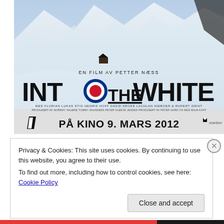[Figure (illustration): Movie poster for 'Into the White' (2012), a Norwegian film by Petter Næss. Shows a snowy mountain landscape with a small cabin visible. Large title text 'INTO THE WHITE' with an RAF roundel replacing the letter O. Subtitle reads 'EN FILM AV PETTER NÆSS'. Cast includes Florian Lukas, Stig Henrik Hoff, David Kross, Lachlan Nieboer, Rupert Grint. Bottom bar reads 'PÅ KINO 9. MARS 2012'.]
Privacy & Cookies: This site uses cookies. By continuing to use this website, you agree to their use.
To find out more, including how to control cookies, see here: Cookie Policy
Close and accept